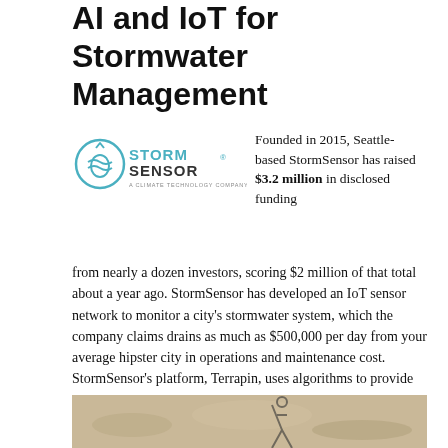AI and IoT for Stormwater Management
[Figure (logo): StormSensor logo - circular water/climate icon with teal text STORMSENSOR and tagline 'A CLIMATE TECHNOLOGY COMPANY']
Founded in 2015, Seattle-based StormSensor has raised $3.2 million in disclosed funding from nearly a dozen investors, scoring $2 million of that total about a year ago. StormSensor has developed an IoT sensor network to monitor a city's stormwater system, which the company claims drains as much as $500,000 per day from your average hipster city in operations and maintenance cost. StormSensor's platform, Terrapin, uses algorithms to provide predictive analytics about where all the rubber duckies are going as the latest storm-of-the-century rages through.
[Figure (photo): Partial photo of sandy/muddy ground surface visible at bottom of page]